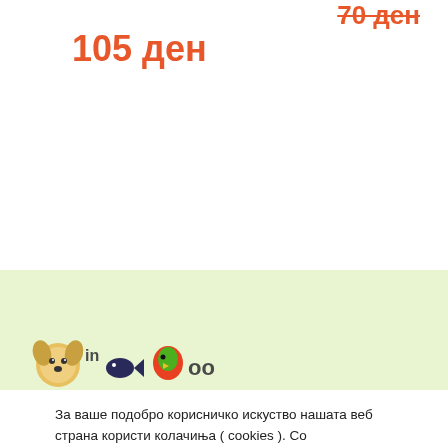70 ден (crossed out price)
105 ден
[Figure (logo): Mini Zoo pet shop logo with cartoon dog, fish, and parrot on a light green background]
За ваше подобро корисничко искуство нашата веб страна користи колачиња ( cookies ). Со продолжување на користење на нашата веб страна или кликнување ''Се согласувам'' се согласувате со користењето на колачињата.
Подесувања
Прифати